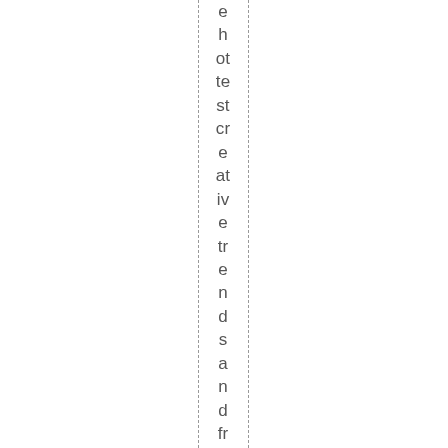ehotestcreativetrends and freshest to